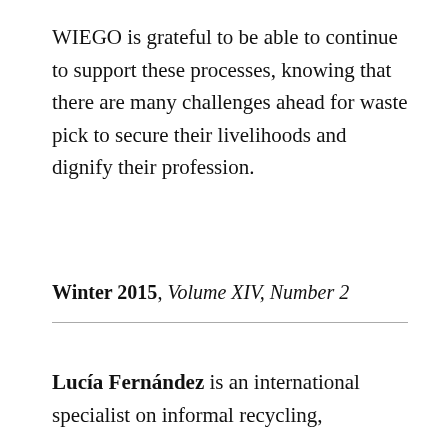WIEGO is grateful to be able to continue to support these processes, knowing that there are many challenges ahead for waste pick to secure their livelihoods and dignify their profession.
Winter 2015, Volume XIV, Number 2
Lucía Fernández is an international specialist on informal recycling,